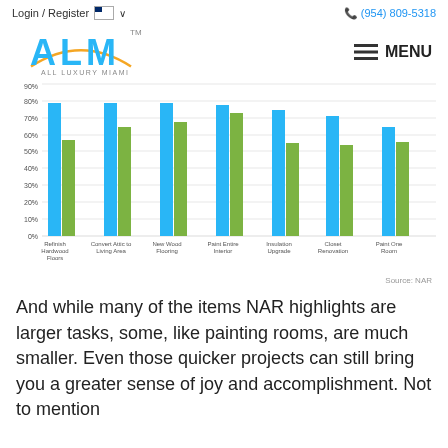Login / Register  🇺🇸 ∨    (954) 809-5318
[Figure (logo): ALM All Luxury Miami logo]
[Figure (grouped-bar-chart): ]
Source: NAR
And while many of the items NAR highlights are larger tasks, some, like painting rooms, are much smaller. Even those quicker projects can still bring you a greater sense of joy and accomplishment. Not to mention